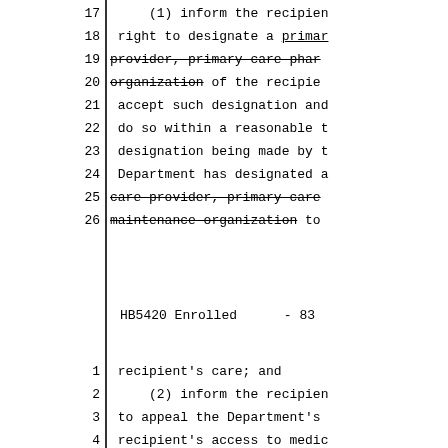17    (1) inform the recipien
18    right to designate a primar
19    provider, primary care phar [strikethrough]
20    organization of the recipie [strikethrough partial]
21    accept such designation and
22    do so within a reasonable t
23    designation being made by t
24    Department has designated a
25    care provider, primary care [strikethrough]
26    maintenance organization to [strikethrough partial]
HB5420 Enrolled      - 83
1    recipient's care; and
2         (2) inform the recipien
3    to appeal the Department's
4    recipient's access to medic
5    recipient with an explanati
6    The notification d